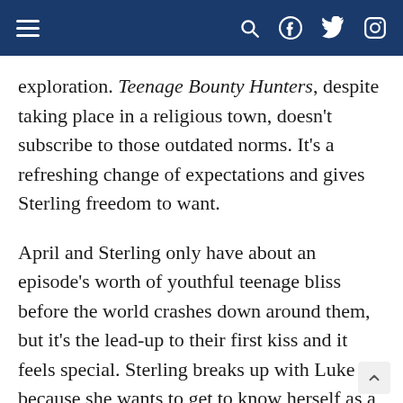Navigation bar with hamburger menu, search, Facebook, Twitter, and Instagram icons
exploration. Teenage Bounty Hunters, despite taking place in a religious town, doesn't subscribe to those outdated norms. It's a refreshing change of expectations and gives Sterling freedom to want.
April and Sterling only have about an episode's worth of youthful teenage bliss before the world crashes down around them, but it's the lead-up to their first kiss and it feels special. Sterling breaks up with Luke because she wants to get to know herself as a person, not in a relationship. They've been together since fifth grade, almost longer together than they've been apart. With Blair's encouragement, Sterling uses the debate